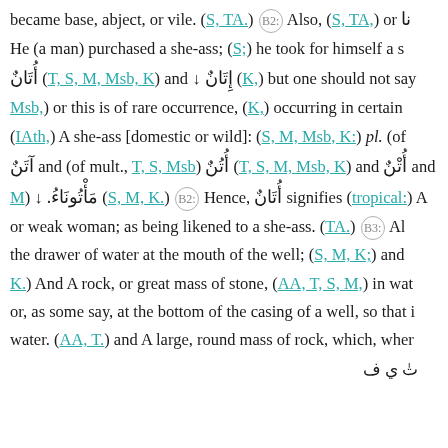became base, abject, or vile. (S, TA.) B2: Also, (S, TA,) or نا He (a man) purchased a she-ass; (S;) he took for himself a s أُتَانٌ (T, S, M, Msb, K) and ↓ إِتَانٌ (K,) but one should not say Msb,) or this is of rare occurrence, (K,) occurring in certain (IAth,) A she-ass [domestic or wild]: (S, M, Msb, K:) pl. (of آتَنٌ and (of mult., T, S, Msb) أُتُنٌ (T, S, M, Msb, K) and أُتْنٌ and M) ↓ مَأْتُونَاءُ. (S, M, K.) B2: Hence, أُتَانٌ signifies (tropical:) A or weak woman; as being likened to a she-ass. (TA.) B3: Al the drawer of water at the mouth of the well; (S, M, K;) and K.) And A rock, or great mass of stone, (AA, T, S, M,) in wat or, as some say, at the bottom of the casing of a well, so that i water. (AA, T.) and A large, round mass of rock, which, wher
Arabic text fragment at bottom